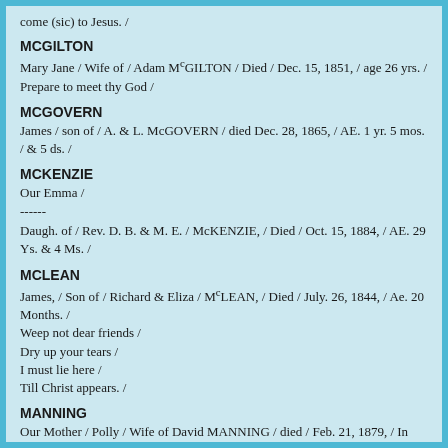come (sic) to Jesus. /
MCGILTON
Mary Jane / Wife of / Adam McGILTON / Died / Dec. 15, 1851, / age 26 yrs. / Prepare to meet thy God /
MCGOVERN
James / son of / A. & L. McGOVERN / died Dec. 28, 1865, / AE. 1 yr. 5 mos. / & 5 ds. /
MCKENZIE
Our Emma /
------
Daugh. of / Rev. D. B. & M. E. / McKENZIE, / Died / Oct. 15, 1884, / AE. 29 Ys. & 4 Ms. /
MCLEAN
James, / Son of / Richard & Eliza / McLEAN, / Died / July. 26, 1844, / Ae. 20 Months. /
Weep not dear friends /
Dry up your tears /
I must lie here /
Till Christ appears. /
MANNING
Our Mother / Polly / Wife of David MANNING / died / Feb. 21, 1879, / In Her 78 Year /
MANNING